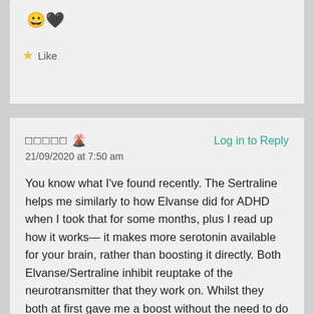[Figure (other): Reaction emoji row: grinning face and black heart]
★ Like
□□□□□ 🌋   Log in to Reply
21/09/2020 at 7:50 am
You know what I've found recently. The Sertraline helps me similarly to how Elvanse did for ADHD when I took that for some months, plus I read up how it works— it makes more serotonin available for your brain, rather than boosting it directly. Both Elvanse/Sertraline inhibit reuptake of the neurotransmitter that they work on. Whilst they both at first gave me a boost without the need to do anything, over time I figured out that they help the most when I do things to generate dopamine/serotonin (doing tasks I need/want to do, or exercise etc). Then the fact that they're re-